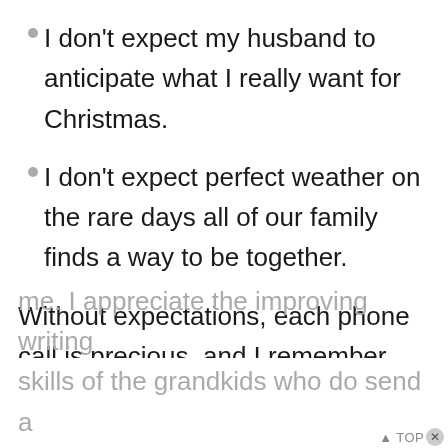I don't expect my husband to anticipate what I really want for Christmas.
I don't expect perfect weather on the rare days all of our family finds a way to be together.
Without expectations, each phone call is precious, and I remember that these are busy adults who took time out to talk with me. I appreciate the improving writing skills of the grandkids who do send a